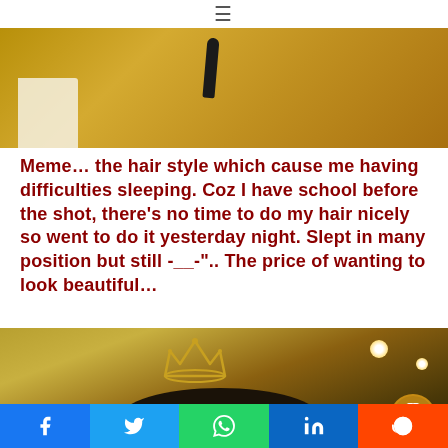≡
[Figure (photo): Top portion of a photo showing a golden/amber background with what appears to be a book corner visible at bottom left and a dark feather or pen in the center]
Meme… the hair style which cause me having difficulties sleeping. Coz I have school before the shot, there's no time to do my hair nicely so went to do it yesterday night. Slept in many position but still -__-".. The price of wanting to look beautiful…
[Figure (photo): Bottom portion showing a person wearing a decorative crown/tiara headband, with dark hair visible, against a golden bokeh background with light spots]
Share buttons: Facebook, Twitter, WhatsApp, LinkedIn, Reddit